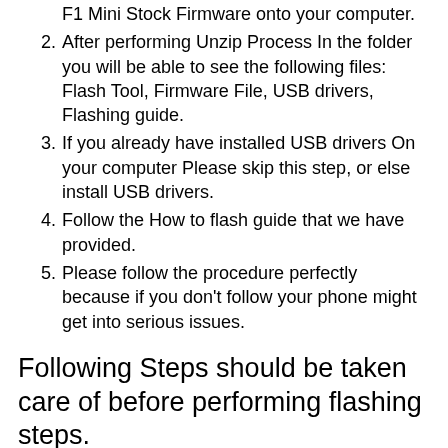F1 Mini Stock Firmware onto your computer.
After performing Unzip Process In the folder you will be able to see the following files: Flash Tool, Firmware File, USB drivers, Flashing guide.
If you already have installed USB drivers On your computer Please skip this step, or else install USB drivers.
Follow the How to flash guide that we have provided.
Please follow the procedure perfectly because if you don't follow your phone might get into serious issues.
Following Steps should be taken care of before performing flashing steps.
You have to be aware of some basic